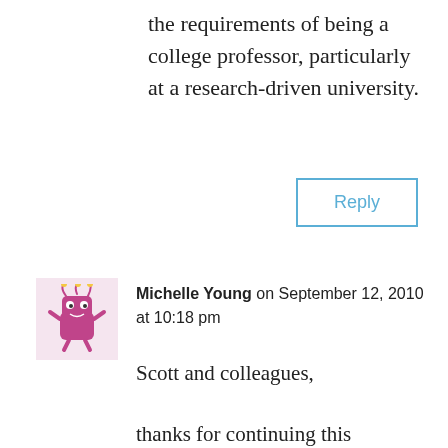the requirements of being a college professor, particularly at a research-driven university.
[Figure (other): Reply button with light blue border and text]
Michelle Young on September 12, 2010 at 10:18 pm
[Figure (illustration): Pink cartoon monster avatar]
Scott and colleagues,

thanks for continuing this conversation here at “dangerously ! irrelevant.” It seems there is support for